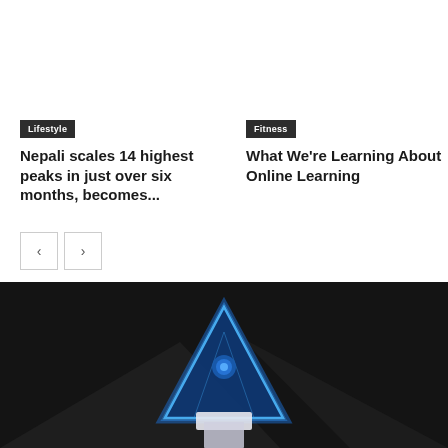Lifestyle
Nepali scales 14 highest peaks in just over six months, becomes...
Fitness
What We're Learning About Online Learning
[Figure (photo): Dark background with a glowing blue triangular/pyramid shape at the bottom center, resembling a technology or esports themed image]